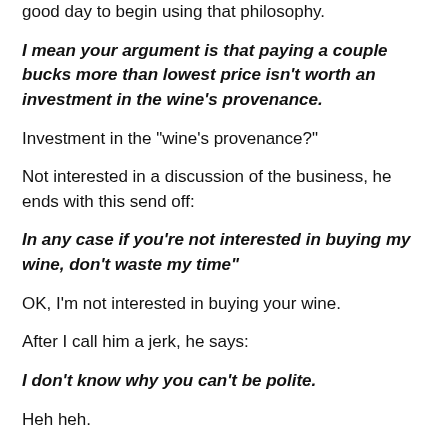good day to begin using that philosophy.
I mean your argument is that paying a couple bucks more than lowest price isn't worth an investment in the wine's provenance.
Investment in the "wine's provenance?"
Not interested in a discussion of the business, he ends with this send off:
In any case if you're not interested in buying my wine, don't waste my time"
OK, I'm not interested in buying your wine.
After I call him a jerk, he says:
I don't know why you can't be polite.
Heh heh.
This page is partially cut off at the bottom.